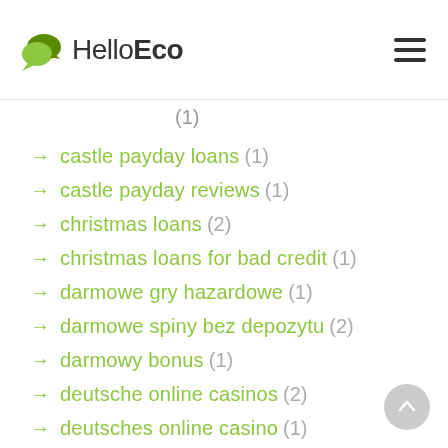HelloEco
→ castle payday loans (1)
→ castle payday reviews (1)
→ christmas loans (2)
→ christmas loans for bad credit (1)
→ darmowe gry hazardowe (1)
→ darmowe spiny bez depozytu (2)
→ darmowy bonus (1)
→ deutsche online casinos (2)
→ deutsches online casino (1)
→ die besten online casinos (5)
→ direct cash advance (1)
→ direct online payday loans (1)
→ direct payday lenders no third party (1)